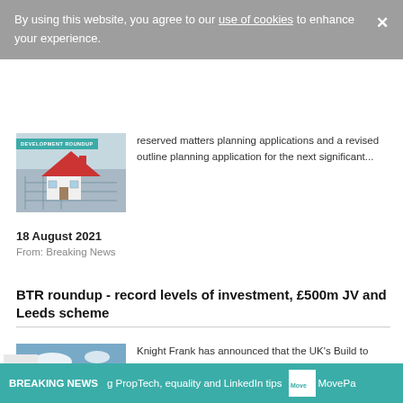By using this website, you agree to our use of cookies to enhance your experience.
[Figure (photo): Development roundup thumbnail showing a model house on blueprints with a teal badge reading DEVELOPMENT ROUNDUP]
...reserved matters planning applications and a revised outline planning application for the next significant...
18 August 2021
From: Breaking News
BTR roundup - record levels of investment, £500m JV and Leeds scheme
[Figure (photo): Construction photo showing wooden frame of a building under a blue sky]
Knight Frank has announced that the UK's Build to Rent (BTR) market received record levels of investment in the first two...
16 August 2021
From: Breaking News
BREAKING NEWS  g PropTech, equality and LinkedIn tips  MovePa